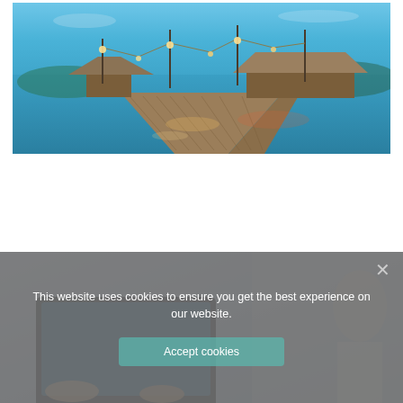[Figure (photo): A wooden pier extending over calm blue water at dusk, with thatched-roof pavilions and string lights, people dining in the distance, mountains in background]
[Figure (photo): Person using a tablet/laptop, partially visible behind a cookie consent overlay]
This website uses cookies to ensure you get the best experience on our website.
Accept cookies